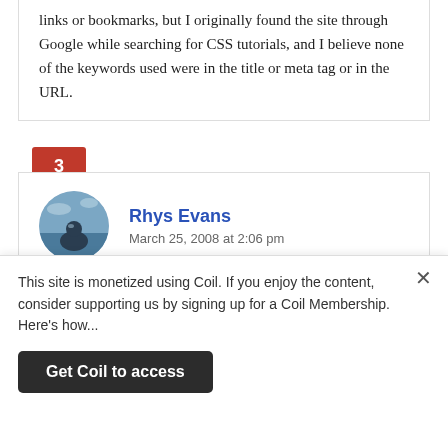links or bookmarks, but I originally found the site through Google while searching for CSS tutorials, and I believe none of the keywords used were in the title or meta tag or in the URL.
3
Rhys Evans
March 25, 2008 at 2:06 pm
… but I don't think it's really a different entity (as long as your site is reasonably usable too)
4
This site is monetized using Coil. If you enjoy the content, consider supporting us by signing up for a Coil Membership. Here's how...
Get Coil to access